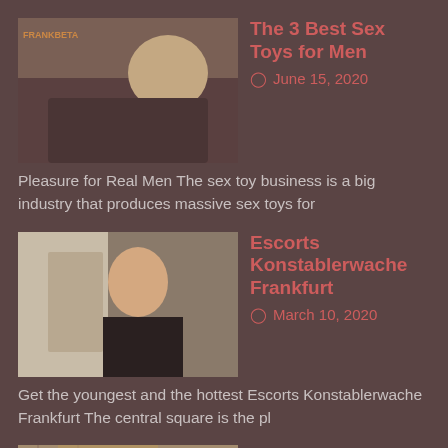[Figure (photo): Thumbnail image of a man in a bathtub]
The 3 Best Sex Toys for Men
🕐 June 15, 2020
Pleasure for Real Men The sex toy business is a big industry that produces massive sex toys for
[Figure (photo): Thumbnail image of a woman in black clothing sitting by a window]
Escorts Konstablerwache Frankfurt
🕐 March 10, 2020
Get the youngest and the hottest Escorts Konstablerwache Frankfurt The central square is the pl
[Figure (photo): Thumbnail image of a woman in underwear]
Passionate fuck with Petite Escort
🕐 September 3, 2019
Since the young age we start watching porn and make up different erotic and lust fantasies. Sometime